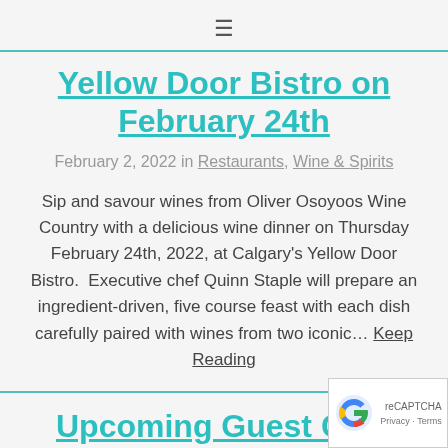≡
Yellow Door Bistro on February 24th
February 2, 2022 in Restaurants, Wine & Spirits
Sip and savour wines from Oliver Osoyoos Wine Country with a delicious wine dinner on Thursday February 24th, 2022, at Calgary's Yellow Door Bistro.  Executive chef Quinn Staple will prepare an ingredient-driven, five course feast with each dish carefully paired with wines from two iconic… Keep Reading
Upcoming Guest Chef Dinners at Hawksworth